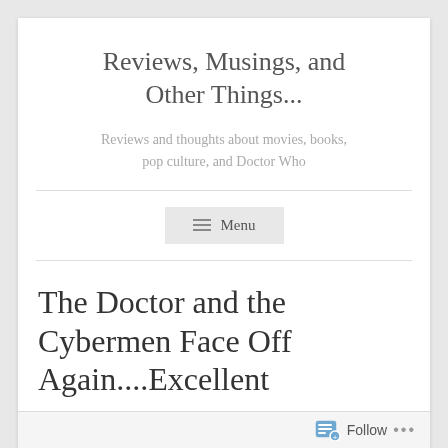Reviews, Musings, and Other Things...
Reviews and thoughts about movies, books, pop culture, and Doctor Who
≡ Menu
The Doctor and the Cybermen Face Off Again....Excellent
Follow ...